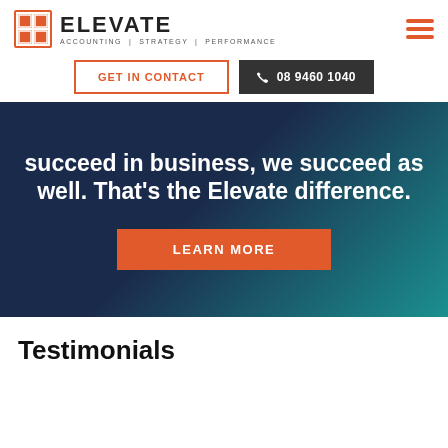ELEVATE | ACCOUNTING | STRATEGY | PERFORMANCE
GET IN CONTACT
08 9460 1040
succeed in business, we succeed as well. That's the Elevate difference.
LEARN MORE
Testimonials